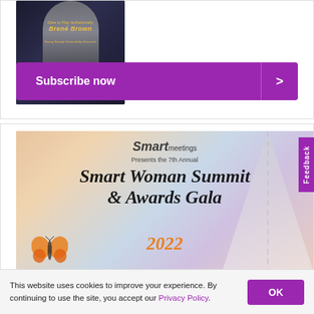[Figure (photo): Book cover featuring Brené Brown with text 'Dare to Play Authentically']
Subscribe now
[Figure (illustration): Smart Meetings banner for the 7th Annual Smart Woman Summit & Awards Gala 2022, featuring a butterfly and road graphic on a gradient background]
This website uses cookies to improve your experience. By continuing to use the site, you accept our Privacy Policy.